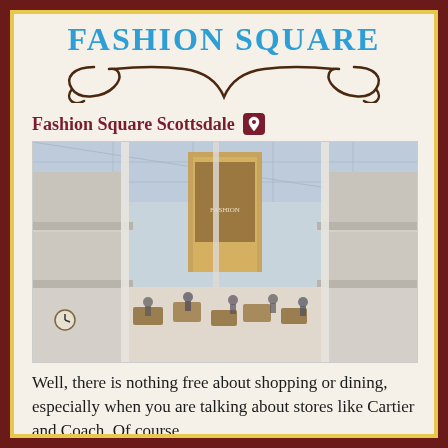FASHION SQUARE
[Figure (illustration): Decorative swash/bracket divider ornament in dark brown]
Fashion Square Scottsdale [location pin icon]
[Figure (photo): Interior of Fashion Square Scottsdale mall showing multi-story atrium with glass ceiling, shoppers, and dining area]
Well, there is nothing free about shopping or dining, especially when you are talking about stores like Cartier and Coach. Of course